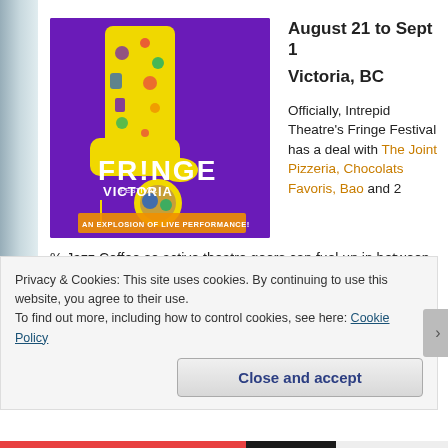[Figure (illustration): Victoria Fringe Festival poster — yellow boot with colorful icons on a purple background, text reads 'Victoria FRINGE Festival — An Explosion of Live Performance!']
August 21 to Sept 1
Victoria, BC
Officially, Intrepid Theatre's Fringe Festival has a deal with The Joint Pizzeria, Chocolats Favoris, Bao and 2 % Jazz Coffee so active theatre goers can fuel up in between shows. By showing your button, a 10% discount is applied.
Privacy & Cookies: This site uses cookies. By continuing to use this website, you agree to their use.
To find out more, including how to control cookies, see here: Cookie Policy
Close and accept